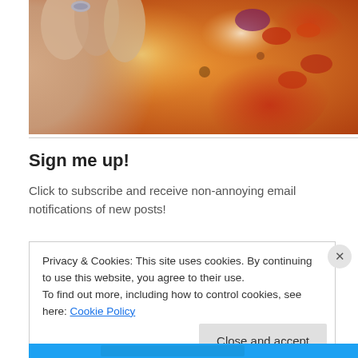[Figure (photo): A hand holding a piece of food (pizza or flatbread) with orange/red tomato sauce, melted cheese, and toppings including red onion. Close-up food photography.]
Sign me up!
Click to subscribe and receive non-annoying email notifications of new posts!
Privacy & Cookies: This site uses cookies. By continuing to use this website, you agree to their use.
To find out more, including how to control cookies, see here: Cookie Policy
Close and accept